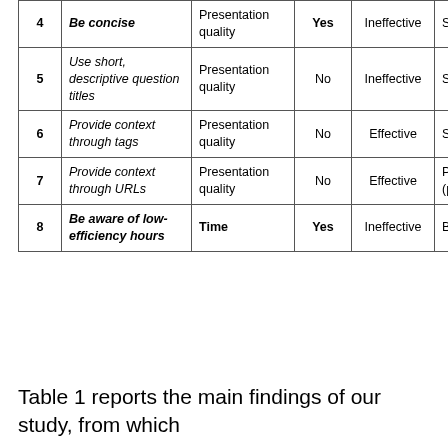| # | Guideline | Category | Tested | Effect | Reference |
| --- | --- | --- | --- | --- | --- |
| 4 | Be concise | Presentation quality | Yes | Ineffective | Skeet [10] |
| 5 | Use short, descriptive question titles | Presentation quality | No | Ineffective | Skeet [10] |
| 6 | Provide context through tags | Presentation quality | No | Effective | Skeet [10] |
| 7 | Provide context through URLs | Presentation quality | No | Effective | Ponzanelli et al. (partially) [8] |
| 8 | Be aware of low-efficiency hours | Time | Yes | Ineffective | Bosu et al. [4] |
Table 1 reports the main findings of our study, from which